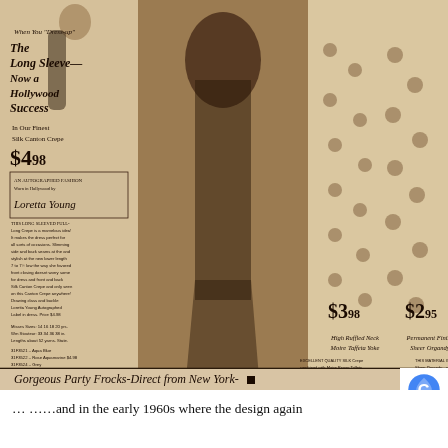[Figure (illustration): Vintage 1930s fashion catalog advertisement showing three women modeling long dresses. Left model wears a dark long-sleeve mermaid gown. Center model wears a long satin slip dress. Right section shows two women in polka-dot dresses. Sepia-toned catalog image with prices $4.98, $3.98, $2.95 and text about Hollywood fashions in Silk Canton Crepe.]
Gorgeous Party Frocks-Direct from New York-
… ……and in the early 1960s where the design again